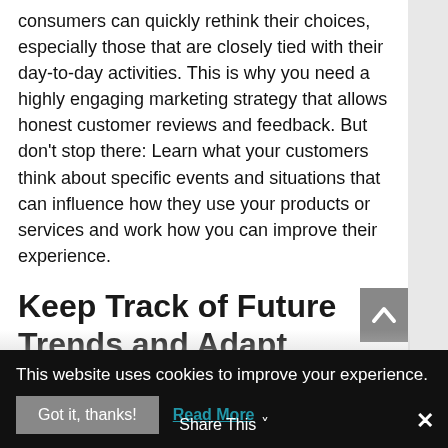consumers can quickly rethink their choices, especially those that are closely tied with their day-to-day activities. This is why you need a highly engaging marketing strategy that allows honest customer reviews and feedback. But don't stop there: Learn what your customers think about specific events and situations that can influence how they use your products or services and work how you can improve their experience.
Keep Track of Future Trends and Adapt
Monitoring industry trends as well as your
This website uses cookies to improve your experience.
Got it, thanks!   Read More
Share This